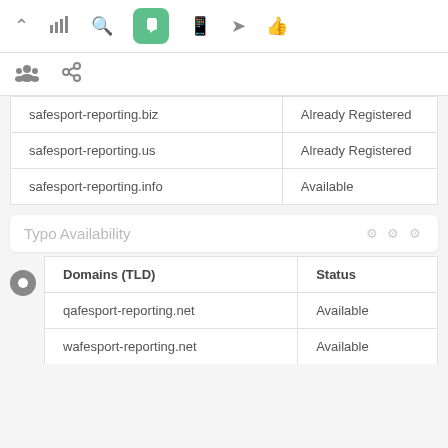[Figure (screenshot): Top navigation toolbar with icons: up-arrow, bar-chart, search/magnifier, hand/cursor (active, green background), mobile, send/location, thumbs-up]
[Figure (screenshot): Second toolbar row with people/group icon and chain-link icon]
|  |  |
| --- | --- |
| safesport-reporting.biz | Already Registered |
| safesport-reporting.us | Already Registered |
| safesport-reporting.info | Available |
Typo Availability
| Domains (TLD) | Status |
| --- | --- |
| qafesport-reporting.net | Available |
| wafesport-reporting.net | Available |